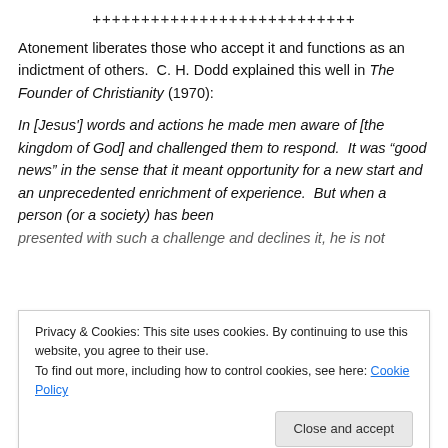+++++++++++++++++++++++++++
Atonement liberates those who accept it and functions as an indictment of others.  C. H. Dodd explained this well in The Founder of Christianity (1970):
In [Jesus'] words and actions he made men aware of [the kingdom of God] and challenged them to respond.  It was “good news” in the sense that it meant opportunity for a new start and an unprecedented enrichment of experience.  But when a person (or a society) has been presented with such a challenge and declines it, he is not meant the open possibility of enhancement of life; it also
Privacy & Cookies: This site uses cookies. By continuing to use this website, you agree to their use.
To find out more, including how to control cookies, see here: Cookie Policy

Close and accept